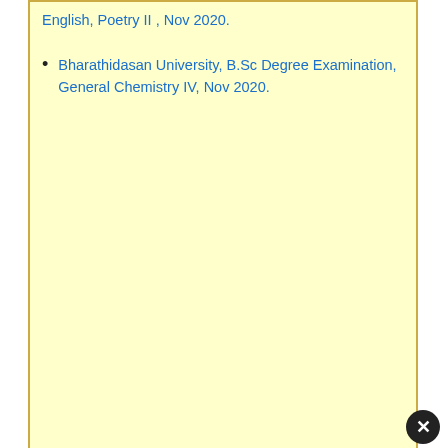English, Poetry II , Nov 2020.
Bharathidasan University, B.Sc Degree Examination, General Chemistry IV, Nov 2020.
Categories
Submit Previous Years U... money from adsense re...
Are you preparing for a ... model question papers ...
[Figure (screenshot): Game advertisement overlay showing a bowling alley game with '+20' and 'x3' score indicators, a character group labeled '3' with 'Hold and Move' text, and a close button (X) in the top right corner.]